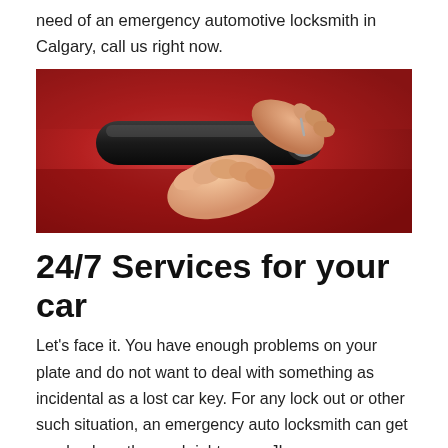need of an emergency automotive locksmith in Calgary, call us right now.
[Figure (photo): Close-up photo of hands picking or unlocking a red car door lock cylinder with a tool]
24/7 Services for your car
Let's face it. You have enough problems on your plate and do not want to deal with something as incidental as a lost car key. For any lock out or other such situation, an emergency auto locksmith can get you back on the road right away. JL